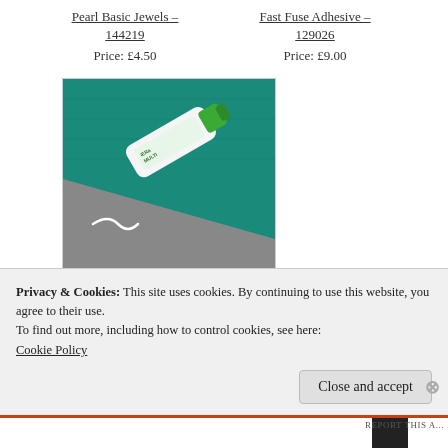Pearl Basic Jewels – 144219
Price: £4.50
Fast Fuse Adhesive – 129026
Price: £9.00
[Figure (photo): A green tube of multipurpose liquid glue lying on a teal cutting mat against a grey background]
Multipurpose Liquid Glue – 110755
Privacy & Cookies: This site uses cookies. By continuing to use this website, you agree to their use.
To find out more, including how to control cookies, see here:
Cookie Policy
Close and accept